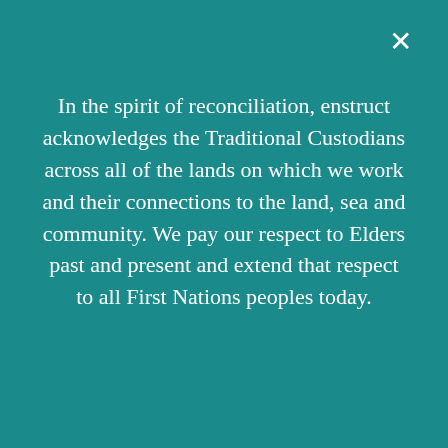In the spirit of reconciliation, enstruct acknowledges the Traditional Custodians across all of the lands on which we work and their connections to the land, sea and community. We pay our respect to Elders past and present and extend that respect to all First Nations peoples today.